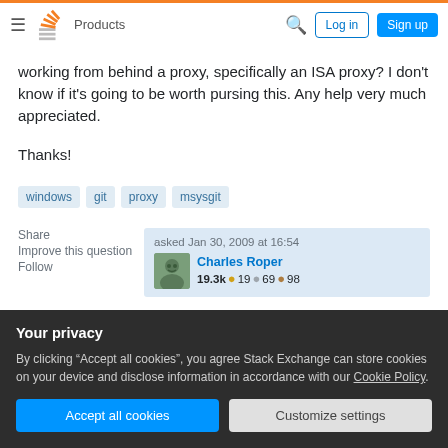≡  Products  🔍  Log in  Sign up
working from behind a proxy, specifically an ISA proxy? I don't know if it's going to be worth pursing this. Any help very much appreciated.
Thanks!
windows
git
proxy
msysgit
Share
Improve this question
Follow
asked Jan 30, 2009 at 16:54
Charles Roper
19.3k ●19 ●69 ●98
Your privacy
By clicking "Accept all cookies", you agree Stack Exchange can store cookies on your device and disclose information in accordance with our Cookie Policy.
Accept all cookies
Customize settings